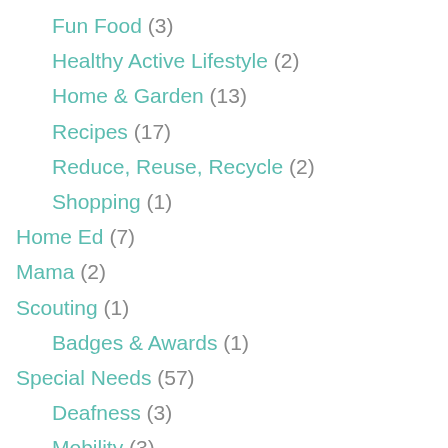Fun Food (3)
Healthy Active Lifestyle (2)
Home & Garden (13)
Recipes (17)
Reduce, Reuse, Recycle (2)
Shopping (1)
Home Ed (7)
Mama (2)
Scouting (1)
Badges & Awards (1)
Special Needs (57)
Deafness (3)
Mobility (3)
Sensory (9)
Tubefeeding (26)